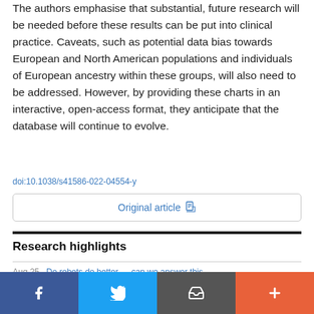The authors emphasise that substantial, future research will be needed before these results can be put into clinical practice. Caveats, such as potential data bias towards European and North American populations and individuals of European ancestry within these groups, will also need to be addressed. However, by providing these charts in an interactive, open-access format, they anticipate that the database will continue to evolve.
doi:10.1038/s41586-022-04554-y
Original article
Research highlights
Aug 25